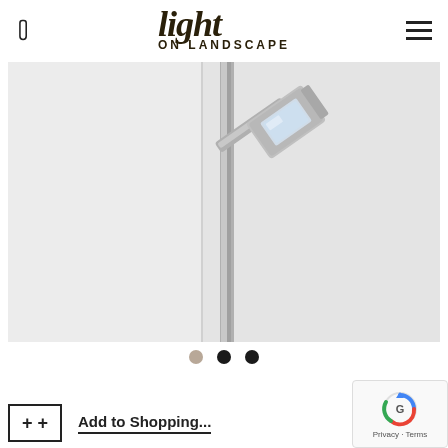light ON LANDSCAPE
[Figure (photo): Close-up product photo of a modern outdoor LED landscape lighting fixture — a square brushed-metal lamp head mounted on a slender post, shown against a light grey background.]
[Figure (other): Three navigation dots for an image carousel: tan/beige dot (active), dark dot, dark dot]
[Figure (other): reCAPTCHA badge with Google logo and Privacy/Terms links]
+ + Add to Shopping...